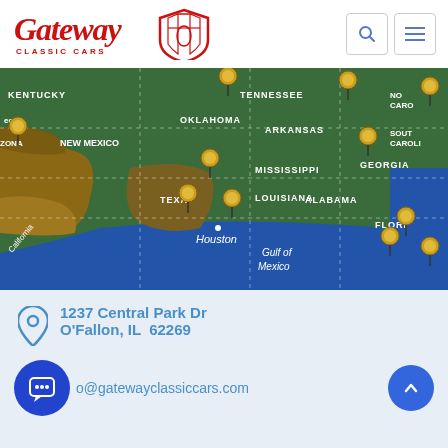[Figure (logo): Gateway Classic Cars logo with red script text and shield emblem]
[Figure (map): Satellite map of southern United States showing Gateway Classic Cars dealership locations marked with pins across states including Oklahoma, Arkansas, Mississippi, Alabama, Georgia, Tennessee, Louisiana, Texas, Florida, New Mexico, and others. Houston is labeled. Gulf of Mexico visible.]
1237 Central Park Dr
O'Fallon, IL  62269
o@gatewayclassiccars.com